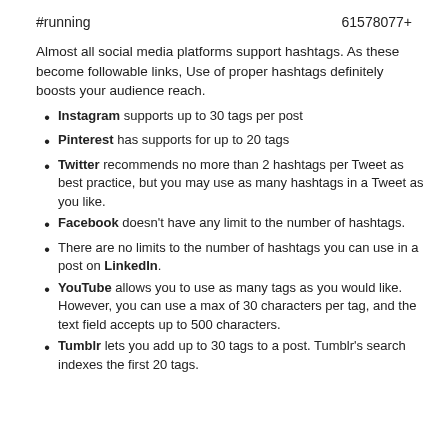#running    61578077+
Almost all social media platforms support hashtags. As these become followable links, Use of proper hashtags definitely boosts your audience reach.
Instagram supports up to 30 tags per post
Pinterest has supports for up to 20 tags
Twitter recommends no more than 2 hashtags per Tweet as best practice, but you may use as many hashtags in a Tweet as you like.
Facebook doesn't have any limit to the number of hashtags.
There are no limits to the number of hashtags you can use in a post on LinkedIn.
YouTube allows you to use as many tags as you would like. However, you can use a max of 30 characters per tag, and the text field accepts up to 500 characters.
Tumblr lets you add up to 30 tags to a post. Tumblr's search indexes the first 20 tags.